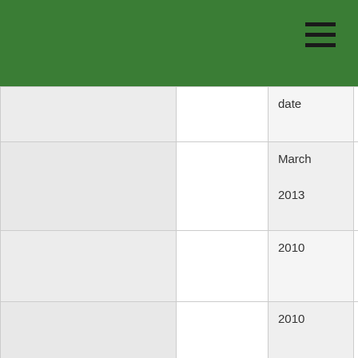|  |  | From | To |
| --- | --- | --- | --- |
|  |  | date |  |
|  |  | March 2013 | 2017 |
|  |  | 2010 | To date |
|  |  | 2010 | 2012 |
|  |  | 2005 | 2010 |
|  |  | 1995 | 2005 |
|  |  | 1993 | 1994 |